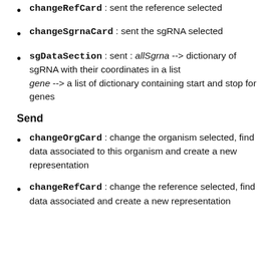changeRefCard : sent the reference selected
changeSgrnaCard : sent the sgRNA selected
sgDataSection : sent : allSgrna --> dictionary of sgRNA with their coordinates in a list gene --> a list of dictionary containing start and stop for genes
Send
changeOrgCard : change the organism selected, find data associated to this organism and create a new representation
changeRefCard : change the reference selected, find data associated and create a new representation